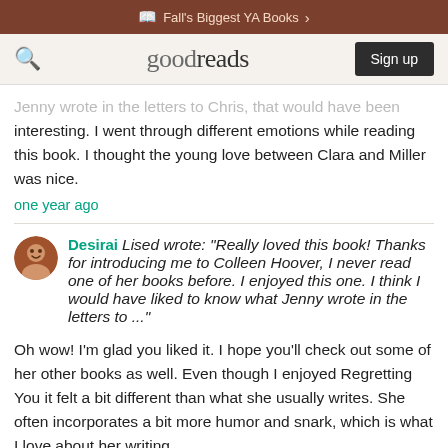Fall's Biggest YA Books >
goodreads  Sign up
...Jenny wrote in the letters to Chris, that would have been interesting. I went through different emotions while reading this book. I thought the young love between Clara and Miller was nice.
one year ago
Desirai Lised wrote: "Really loved this book! Thanks for introducing me to Colleen Hoover, I never read one of her books before. I enjoyed this one. I think I would have liked to know what Jenny wrote in the letters to ..."
Oh wow! I'm glad you liked it. I hope you'll check out some of her other books as well. Even though I enjoyed Regretting You it felt a bit different than what she usually writes. She often incorporates a bit more humor and snark, which is what I love about her writing.
I agree! I really wanted to know what was in those letters. lol